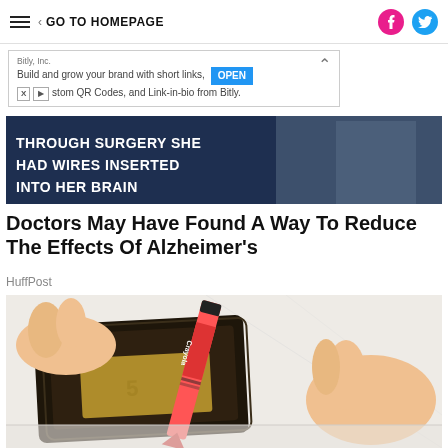≡  < GO TO HOMEPAGE
Bitly, Inc.
Build and grow your brand with short links, custom QR Codes, and Link-in-bio from Bitly.  OPEN
[Figure (photo): Article hero image with bold white text on dark background reading 'THROUGH SURGERY SHE HAD WIRES INSERTED INTO HER BRAIN']
Doctors May Have Found A Way To Reduce The Effects Of Alzheimer's
HuffPost
[Figure (photo): Hands opening a wallet with a Crayola crayon inside instead of money, on a white wooden surface]